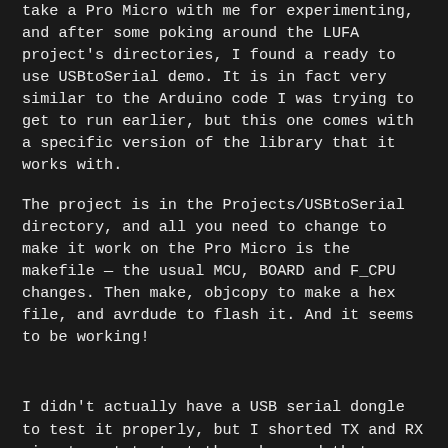take a Pro Micro with me for experimenting, and after some poking around the LUFA project's directories, I found a ready to use USBtoSerial demo. It is in fact very similar to the Arduino code I was trying to get to run earlier, but this one comes with a specific version of the library that it works with.
The project is in the Projects/USBtoSerial directory, and all you need to change to make it work on the Pro Micro is the makefile — the usual MCU, BOARD and F_CPU changes. Then make, objcopy to make a hex file, and avrdude to flash it. And it seems to be working!
I didn't actually have a USB serial dongle to test it properly, but I shorted TX and RX pins to get to test the echo, and that seems fine. When I get back home I will try to program the ESP8266 with this, but I don't expect any problems.
Next stop is getting the mass storage demo to work with